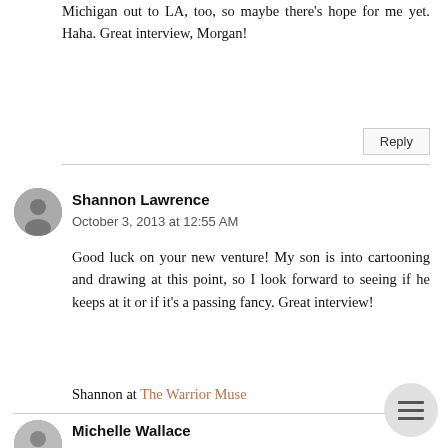Michigan out to LA, too, so maybe there's hope for me yet. Haha. Great interview, Morgan!
Reply
Shannon Lawrence
October 3, 2013 at 12:55 AM
Good luck on your new venture! My son is into cartooning and drawing at this point, so I look forward to seeing if he keeps at it or if it's a passing fancy. Great interview!
Shannon at The Warrior Muse
Michelle Wallace